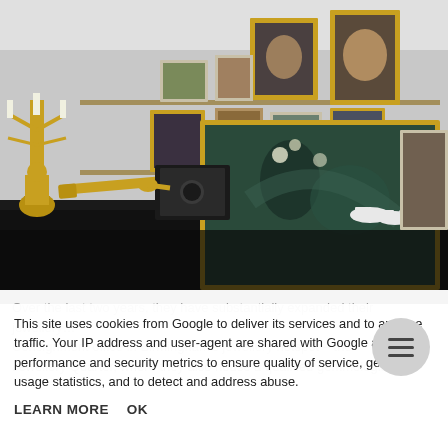[Figure (photo): Interior of an auction house or antique shop showing paintings on shelves along the wall, a large framed canvas painting leaning forward, a gold candelabra, a brass telescope, a black mantel clock or magic lantern, china teacups and saucers, and various antiques on a dark-clothed table.]
Over the last two years, they have substantially expanded their jewellery... Consignment office in Birmingham's jewellery hotspot – the Jewellery Quarter, where they also house a qualified gemmologist,
This site uses cookies from Google to deliver its services and to analyse traffic. Your IP address and user-agent are shared with Google along with performance and security metrics to ensure quality of service, generate usage statistics, and to detect and address abuse.
LEARN MORE    OK